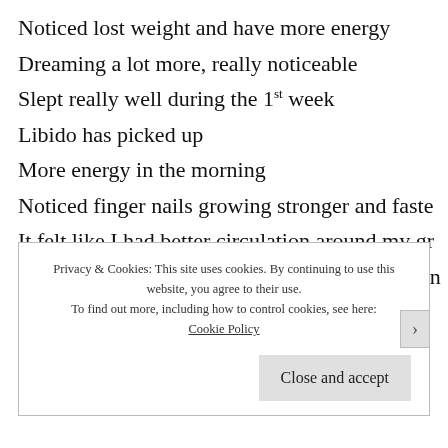Noticed lost weight and have more energy
Dreaming a lot more, really noticeable
Slept really well during the 1st week
Libido has picked up
More energy in the morning
Noticed finger nails growing stronger and faste
It felt like I had better circulation around my gr
For the first week I was passing a stool after lun
Privacy & Cookies: This site uses cookies. By continuing to use this website, you agree to their use. To find out more, including how to control cookies, see here: Cookie Policy
Close and accept